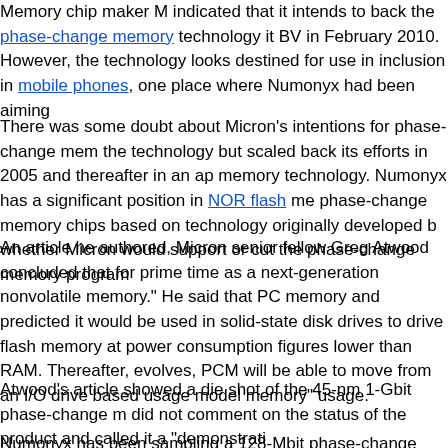Memory chip maker M indicated that it intends to back the phase-change memory technology it BV in February 2010. However, the technology looks destined for use in inclusion in mobile phones, one place where Numonyx had been aiming
There was some doubt about Micron's intentions for phase-change mem the technology but scaled back its efforts in 2005 and thereafter in an ap memory technology. Numonyx has a significant position in NOR flash me phase-change memory chips based on technology originally developed b whether Micron would support or cut the phase-change memory program
An article he authored, Micron senior fellow Greg Atwood concluded that for prime time as a next-generation nonvolatile memory." He said that PC memory and predicted it would be used in solid-state disk drives to drive flash memory at power consumption figures lower than RAM. Thereafter, evolves, PCM will be able to move from an I/O drive based usage model memory" usage.
Atwood's article showed a die shot of the 45-nm 1-Gbit phase-change m did not comment on the status of the product and called it a "demonstrati
Numonyx has been sampling a 128-Mbit phase-change memory impleme